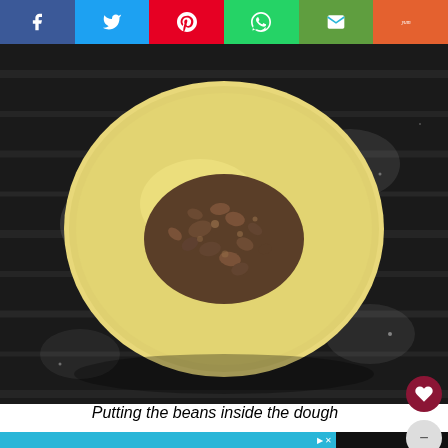[Figure (photo): Overhead view of a round flat dough disc on a dark floured surface, with a mound of ground bean filling placed in the center.]
Putting the beans inside the dough